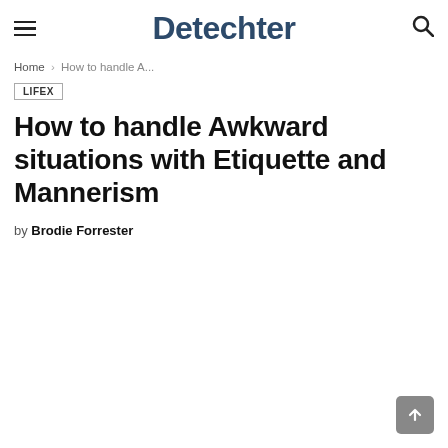Detechter
Home › How to handle A...
LIFEX
How to handle Awkward situations with Etiquette and Mannerism
by Brodie Forrester